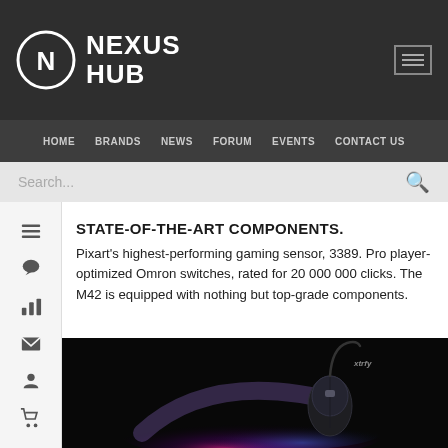NEXUS HUB
HOME  BRANDS  NEWS  FORUM  EVENTS  CONTACT US
STATE-OF-THE-ART COMPONENTS.
Pixart's highest-performing gaming sensor, 3389. Pro player-optimized Omron switches, rated for 20 000 000 clicks. The M42 is equipped with nothing but top-grade components.
[Figure (photo): Gaming mouse with colorful light trail on dark background, with xtrfy watermark]